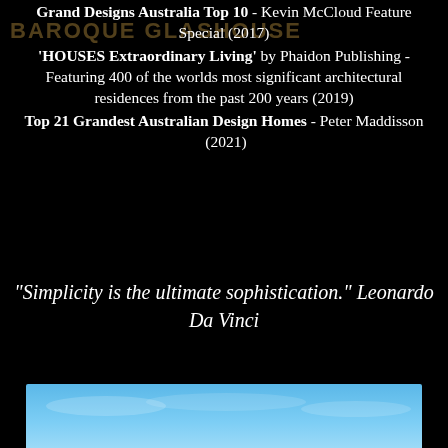Grand Designs Australia Top 10 - Kevin McCloud Feature Special (2017)
'HOUSES Extraordinary Living' by Phaidon Publishing - Featuring 400 of the worlds most significant architectural residences from the past 200 years (2019)
Top 21 Grandest Australian Design Homes - Peter Maddisson (2021)
"Simplicity is the ultimate sophistication." Leonardo Da Vinci
[Figure (photo): Partial view of a building exterior against a blue sky, cropped at bottom of page]